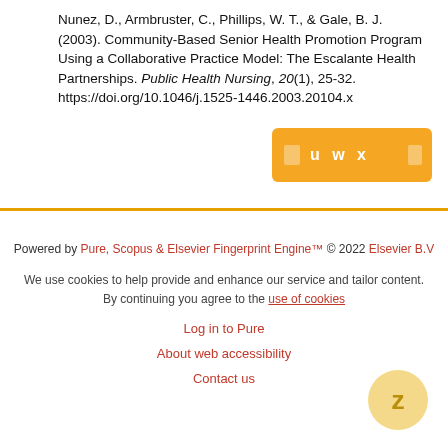Nunez, D., Armbruster, C., Phillips, W. T., & Gale, B. J. (2003). Community-Based Senior Health Promotion Program Using a Collaborative Practice Model: The Escalante Health Partnerships. Public Health Nursing, 20(1), 25-32. https://doi.org/10.1046/j.1525-1446.2003.20104.x
[Figure (other): Orange button with icons and text: u w x]
Powered by Pure, Scopus & Elsevier Fingerprint Engine™ © 2022 Elsevier B.V

We use cookies to help provide and enhance our service and tailor content. By continuing you agree to the use of cookies

Log in to Pure

About web accessibility

Contact us